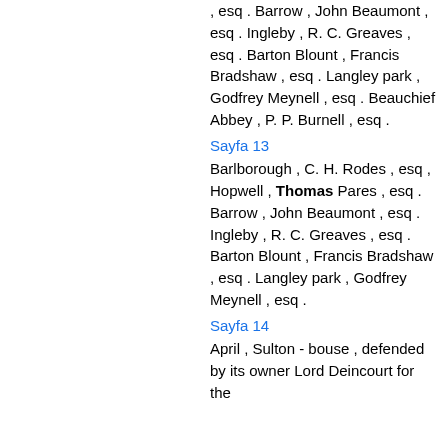, esq . Barrow , John Beaumont , esq . Ingleby , R. C. Greaves , esq . Barton Blount , Francis Bradshaw , esq . Langley park , Godfrey Meynell , esq . Beauchief Abbey , P. P. Burnell , esq .
Sayfa 13
Barlborough , C. H. Rodes , esq , Hopwell , Thomas Pares , esq . Barrow , John Beaumont , esq . Ingleby , R. C. Greaves , esq . Barton Blount , Francis Bradshaw , esq . Langley park , Godfrey Meynell , esq .
Sayfa 14
April , Sulton - bouse , defended by its owner Lord Deincourt for the